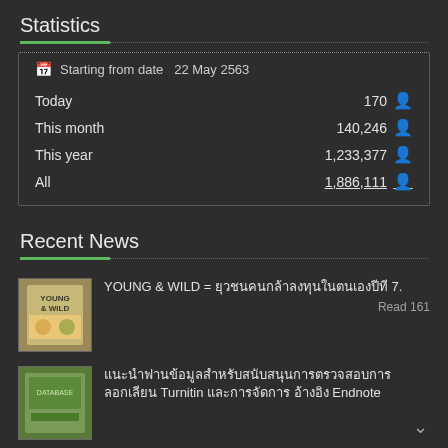Statistics
|  |  |
| --- | --- |
| Starting from date  22 May 2563 |  |
| Today | 170 |
| This month | 140,246 |
| This year | 1,233,377 |
| All | 1,886,111 |
Recent News
YOUNG & WILD = ยุวชนคนกล้าลงทุนในตนเองปีที่ 7.
Read 161
แนะนำฐานข้อมูลสำหรับสนับสนุนการตรวจสอบการลอกเลียน Turnitin และการจัดการ อ้างอิง Endnote